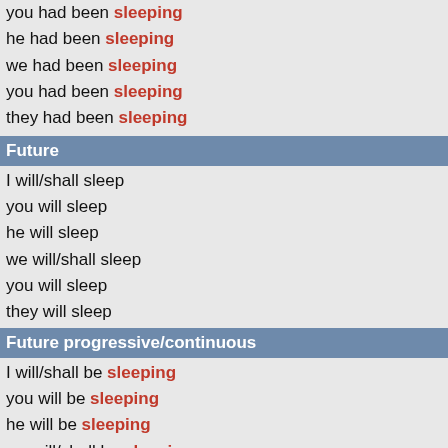you had been sleeping
he had been sleeping
we had been sleeping
you had been sleeping
they had been sleeping
Future
I will/shall sleep
you will sleep
he will sleep
we will/shall sleep
you will sleep
they will sleep
Future progressive/continuous
I will/shall be sleeping
you will be sleeping
he will be sleeping
we will/shall be sleeping
you will be sleeping
they will be sleeping